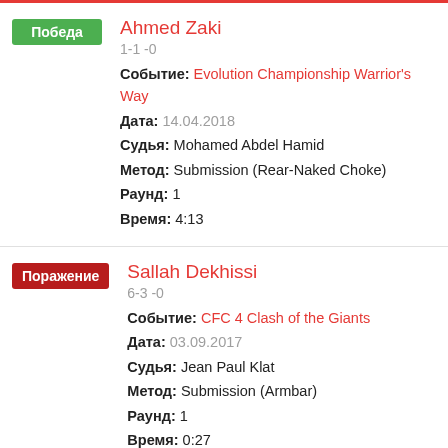Победа — Ahmed Zaki, 1-1 -0, Событие: Evolution Championship Warrior's Way, Дата: 14.04.2018, Судья: Mohamed Abdel Hamid, Метод: Submission (Rear-Naked Choke), Раунд: 1, Время: 4:13
Поражение — Sallah Dekhissi, 6-3 -0, Событие: CFC 4 Clash of the Giants, Дата: 03.09.2017, Судья: Jean Paul Klat, Метод: Submission (Armbar), Раунд: 1, Время: 0:27